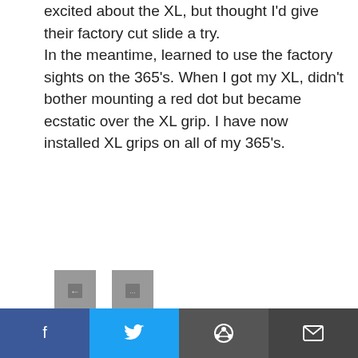excited about the XL, but thought I’d give their factory cut slide a try.
In the meantime, learned to use the factory sights on the 365’s. When I got my XL, didn’t bother mounting a red dot but became ecstatic over the XL grip. I have now installed XL grips on all of my 365’s.
[Figure (other): Two small reaction/vote buttons (grey squares with icons)]
KMacK
AUGUST 31, 2020, 2:06 PM
[Figure (illustration): Grey avatar placeholder with person silhouette icon]
I enjoyed the article with one major exception. How ... se that lump of a rear ... rrying it “concealed”
[Figure (other): Social share bar with Facebook, Twitter, Reddit, and Email buttons]